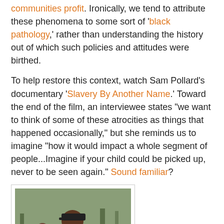communities profit. Ironically, we tend to attribute these phenomena to some sort of 'black pathology,' rather than understanding the history out of which such policies and attitudes were birthed.
To help restore this context, watch Sam Pollard's documentary 'Slavery By Another Name.' Toward the end of the film, an interviewee states "we want to think of some of these atrocities as things that happened occasionally," but she reminds us to imagine "how it would impact a whole segment of people...Imagine if your child could be picked up, never to be seen again." Sound familiar?
[Figure (photo): A man operating a film camera outdoors, with another person visible behind him. Trees are visible in the background.]
The subjects explored in Pollard's documentary are almost